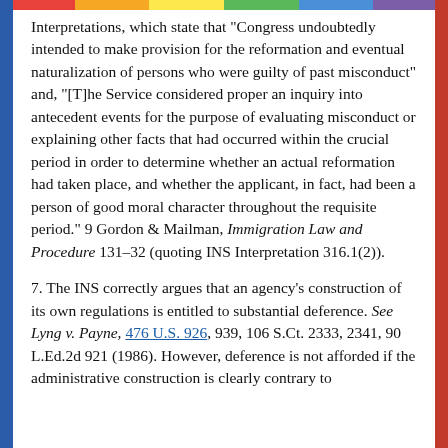Interpretations, which state that "Congress undoubtedly intended to make provision for the reformation and eventual naturalization of persons who were guilty of past misconduct" and, "[T]he Service considered proper an inquiry into antecedent events for the purpose of evaluating misconduct or explaining other facts that had occurred within the crucial period in order to determine whether an actual reformation had taken place, and whether the applicant, in fact, had been a person of good moral character throughout the requisite period." 9 Gordon & Mailman, Immigration Law and Procedure 131–32 (quoting INS Interpretation 316.1(2)).
7. The INS correctly argues that an agency's construction of its own regulations is entitled to substantial deference. See Lyng v. Payne, 476 U.S. 926, 939, 106 S.Ct. 2333, 2341, 90 L.Ed.2d 921 (1986). However, deference is not afforded if the administrative construction is clearly contrary to